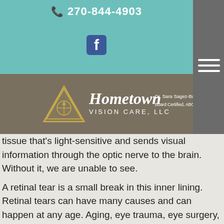270-844-4903
[Figure (logo): Hometown Vision Care, LLC logo with Dr. Sara Sagez-Barrett, O.D., Board Certified, ABO]
tissue that's light-sensitive and sends visual information through the optic nerve to the brain. Without it, we are unable to see.
A retinal tear is a small break in this inner lining. Retinal tears can have many causes and can happen at any age. Aging, eye trauma, eye surgery, or being drastically nearsighted may cause retinal tears or detachments.
Treating Retinal Damage
Tears and detachments can be treated with laser surgery or an advanced “freezing” process. Both of these treatment options